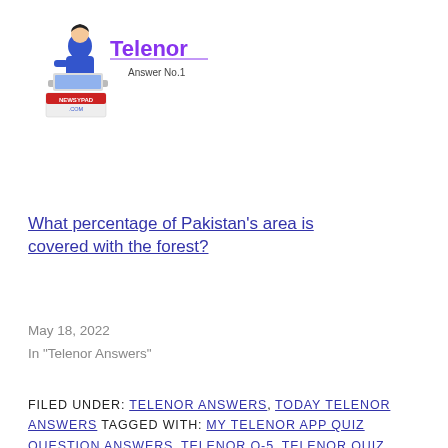[Figure (logo): Telenor Answer No.1 logo with newsypad.com branding — cartoon figure at laptop, purple Telenor text, red/blue newsypad.com label]
What percentage of Pakistan's area is covered with the forest?
May 18, 2022
In "Telenor Answers"
FILED UNDER: TELENOR ANSWERS, TODAY TELENOR ANSWERS TAGGED WITH: MY TELENOR APP QUIZ QUESTION ANSWERS, TELENOR Q-5, TELENOR QUIZ ANSWERS, TEST YOUR SKILLS ANSWERS, TODAY TELENOR ANSWERS